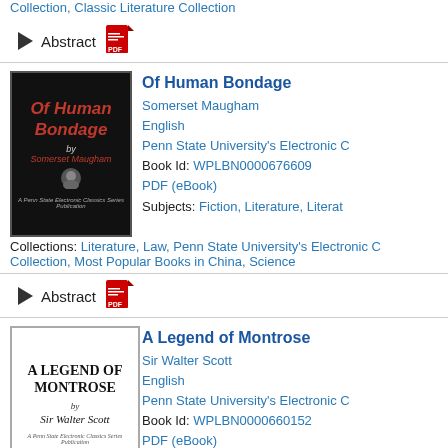Collections: Classic Literature Collection
Abstract
Of Human Bondage
Somerset Maugham
English
Penn State University's Electronic C
Book Id: WPLBN0000676609
PDF (eBook)
Subjects: Fiction, Literature, Literat
Collections: Literature, Law, Penn State University's Electronic C Collection, Most Popular Books in China, Science
Abstract
[Figure (illustration): Cover of Of Human Bondage by Somerset Maugham, black background with red title text]
A Legend of Montrose
Sir Walter Scott
English
Penn State University's Electronic C
Book Id: WPLBN0000660152
PDF (eBook)
[Figure (illustration): Cover of A Legend of Montrose by Sir Walter Scott, white background with black text]